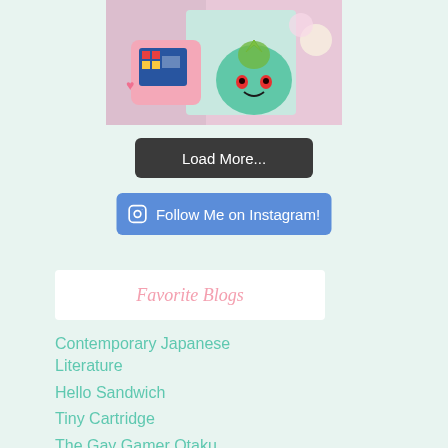[Figure (photo): Photo of a teal/green Bulbasaur plush toy wearing a crown, next to a pink device with a pixel art screen, various stuffed animals and collectibles in background, anime-style girl visible on left edge]
Load More...
Follow Me on Instagram!
Favorite Blogs
Contemporary Japanese Literature
Hello Sandwich
Tiny Cartridge
The Gay Gamer Otaku